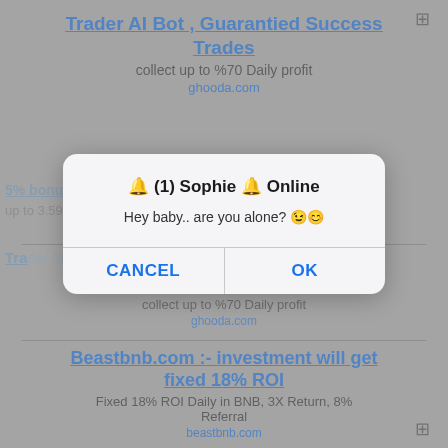[Figure (screenshot): Screenshot of a webpage showing crypto investment ads (Trader AI Bot, ghooda.com, Beastbnb.com) in the background, partially dimmed by a modal dialog overlay. A popup dialog box displays the title '🔔 (1) Sophie 🔔 Online' with the message 'Hey baby.. are you alone? 😉😊' and two buttons: CANCEL and OK.]
Trader AI Bot , Guarantied Success Trades
collect up to %70 Daily profit
ghooda.com
Beastbnb.com :- investment will get fixed 18% ROI
Fixed 18% ROI Daily in BNB, 3X Return, 8% Referral
beastbnb.com
🔔 (1) Sophie 🔔 Online
Hey baby.. are you alone? 😉😊
CANCEL
OK